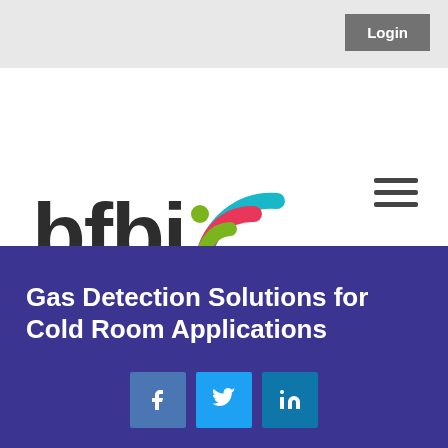Login
[Figure (logo): BFBI - Stronger Together logo with colorful wifi signal arcs (teal, red/pink, green) and bold dark text 'bfbi' with tagline 'STRONGER TOGETHER']
Gas Detection Solutions for Cold Room Applications